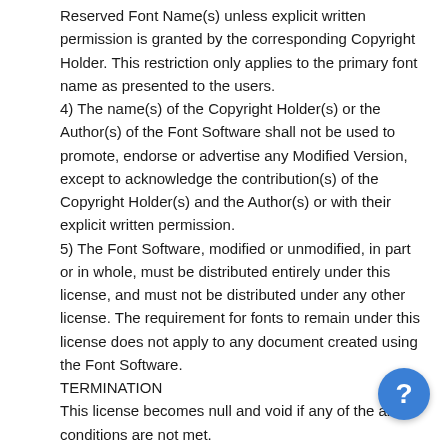Reserved Font Name(s) unless explicit written permission is granted by the corresponding Copyright Holder. This restriction only applies to the primary font name as presented to the users.
4) The name(s) of the Copyright Holder(s) or the Author(s) of the Font Software shall not be used to promote, endorse or advertise any Modified Version, except to acknowledge the contribution(s) of the Copyright Holder(s) and the Author(s) or with their explicit written permission.
5) The Font Software, modified or unmodified, in part or in whole, must be distributed entirely under this license, and must not be distributed under any other license. The requirement for fonts to remain under this license does not apply to any document created using the Font Software.
TERMINATION
This license becomes null and void if any of the above conditions are not met.
DISCLAIMER
THE FONT SOFTWARE IS PROVIDED "AS IS", WITHOUT WARRANTY OF ANY KIND, EXPRESS OR IMPLIED, INCLUDING BUT NOT LIMITED TO ANY WARRANTIES OF MERCHANTABILITY, FITNESS FOR A PARTICULAR